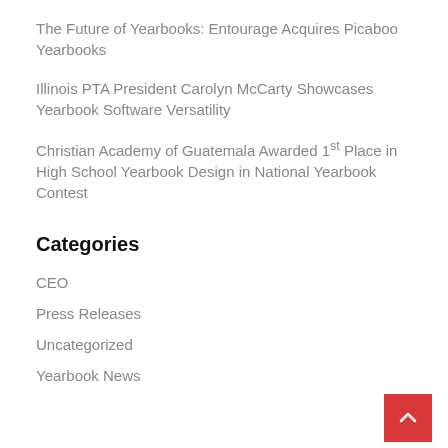The Future of Yearbooks: Entourage Acquires Picaboo Yearbooks
Illinois PTA President Carolyn McCarty Showcases Yearbook Software Versatility
Christian Academy of Guatemala Awarded 1st Place in High School Yearbook Design in National Yearbook Contest
Categories
CEO
Press Releases
Uncategorized
Yearbook News